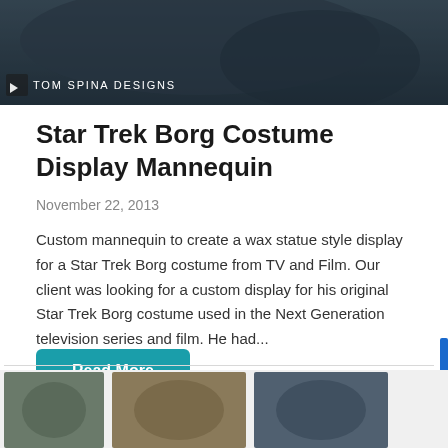[Figure (photo): Dark-toned hero image of a Star Trek Borg costume/mannequin with Tom Spina Designs logo watermark in the lower left]
Star Trek Borg Costume Display Mannequin
November 22, 2013
Custom mannequin to create a wax statue style display for a Star Trek Borg costume from TV and Film. Our client was looking for a custom display for his original Star Trek Borg costume used in the Next Generation television series and film. He had...
Read More
[Figure (photo): Bottom strip showing three partially visible thumbnail images of Star Trek Borg costume display mannequin]